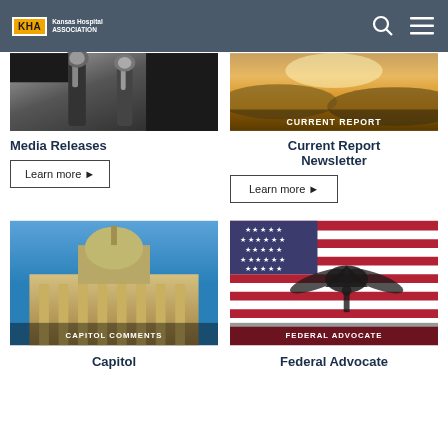KHA Kansas Hospital Association
[Figure (photo): Close-up of microphone stands in black and white tones]
[Figure (photo): Golden wheat field at sunrise with text overlay CURRENT REPORT]
Media Releases
Learn more ▶
Current Report Newsletter
Learn more ▶
[Figure (photo): Kansas State Capitol building against blue sky with text overlay CAPITOL COMMENTS]
[Figure (photo): Bald eagle flying over American flag with text overlay FEDERAL ADVOCATE]
Capitol
Federal Advocate